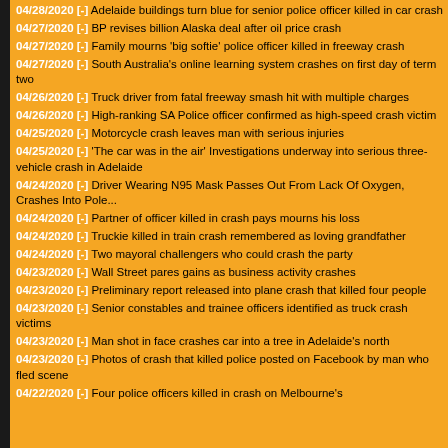04/28/2020 [-] Adelaide buildings turn blue for senior police officer killed in car crash
04/27/2020 [-] BP revises billion Alaska deal after oil price crash
04/27/2020 [-] Family mourns 'big softie' police officer killed in freeway crash
04/27/2020 [-] South Australia's online learning system crashes on first day of term two
04/26/2020 [-] Truck driver from fatal freeway smash hit with multiple charges
04/26/2020 [-] High-ranking SA Police officer confirmed as high-speed crash victim
04/25/2020 [-] Motorcycle crash leaves man with serious injuries
04/25/2020 [-] 'The car was in the air' Investigations underway into serious three-vehicle crash in Adelaide
04/24/2020 [-] Driver Wearing N95 Mask Passes Out From Lack Of Oxygen, Crashes Into Pole...
04/24/2020 [-] Partner of officer killed in crash pays mourns his loss
04/24/2020 [-] Truckie killed in train crash remembered as loving grandfather
04/24/2020 [-] Two mayoral challengers who could crash the party
04/23/2020 [-] Wall Street pares gains as business activity crashes
04/23/2020 [-] Preliminary report released into plane crash that killed four people
04/23/2020 [-] Senior constables and trainee officers identified as truck crash victims
04/23/2020 [-] Man shot in face crashes car into a tree in Adelaide's north
04/23/2020 [-] Photos of crash that killed police posted on Facebook by man who fled scene
04/22/2020 [-] Four police officers killed in crash on Melbourne's